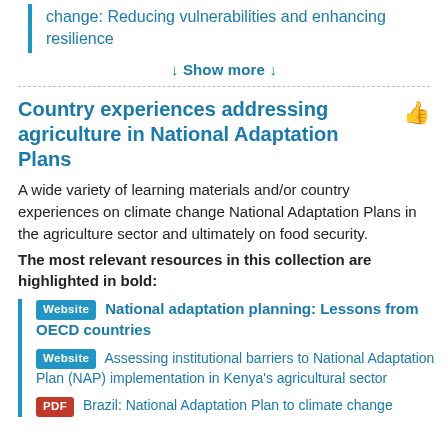change: Reducing vulnerabilities and enhancing resilience
↓ Show more ↓
Country experiences addressing agriculture in National Adaptation Plans
A wide variety of learning materials and/or country experiences on climate change National Adaptation Plans in the agriculture sector and ultimately on food security.
The most relevant resources in this collection are highlighted in bold:
Website  National adaptation planning: Lessons from OECD countries
Website  Assessing institutional barriers to National Adaptation Plan (NAP) implementation in Kenya's agricultural sector
PDF  Brazil: National Adaptation Plan to climate change